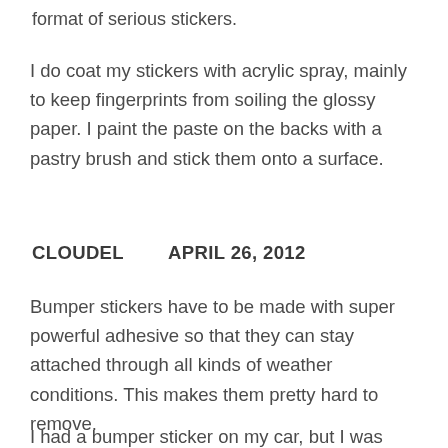format of serious stickers.
I do coat my stickers with acrylic spray, mainly to keep fingerprints from soiling the glossy paper. I paint the paste on the backs with a pastry brush and stick them onto a surface.
CLOUDEL        APRIL 26, 2012
Bumper stickers have to be made with super powerful adhesive so that they can stay attached through all kinds of weather conditions. This makes them pretty hard to remove.
I had a bumper sticker on my car, but I was